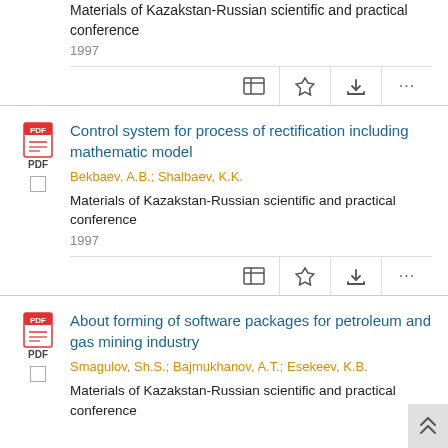Materials of Kazakstan-Russian scientific and practical conference
1997
Control system for process of rectification including mathematic model
Bekbaev, A.B.; Shalbaev, K.K.
Materials of Kazakstan-Russian scientific and practical conference
1997
About forming of software packages for petroleum and gas mining industry
Smagulov, Sh.S.; Bajmukhanov, A.T.; Esekeev, K.B.
Materials of Kazakstan-Russian scientific and practical conference